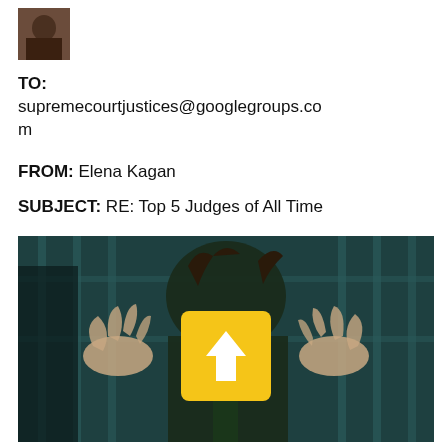[Figure (photo): Small avatar/profile photo of a person in upper left corner]
TO:
supremecourtjustices@googlegroups.com
FROM: Elena Kagan
SUBJECT: RE: Top 5 Judges of All Time
[Figure (photo): Movie still from The Dark Knight showing the Joker character behind prison bars with hands raised, face partially obscured by a yellow upload/share button icon with an upward arrow]